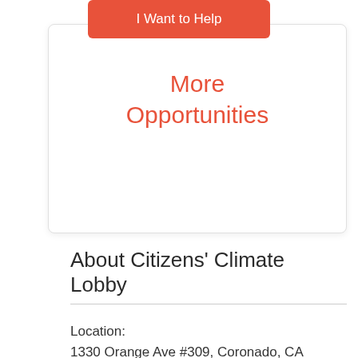[Figure (other): Orange 'I Want to Help' button]
More Opportunities
About Citizens' Climate Lobby
Location:
1330 Orange Ave #309, Coronado, CA 92118, US